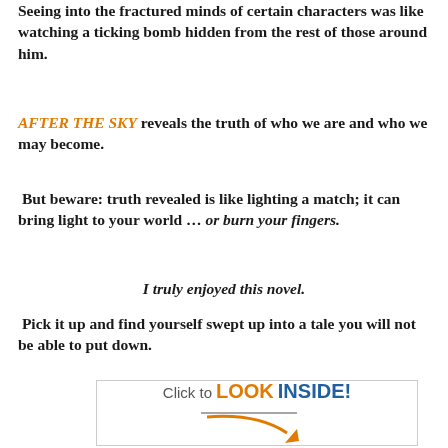Seeing into the fractured minds of certain characters was like watching a ticking bomb hidden from the rest of those around him.
AFTER THE SKY reveals the truth of who we are and who we may become.
But beware: truth revealed is like lighting a match; it can bring light to your world … or burn your fingers.
I truly enjoyed this novel.
Pick it up and find yourself swept up into a tale you will not be able to put down.
[Figure (other): Click to LOOK INSIDE! badge with orange arrow]